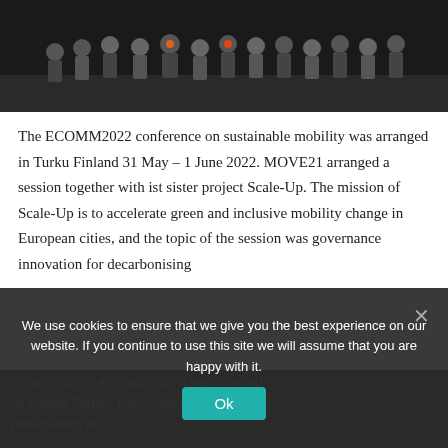[Figure (photo): Group photo of people on a stage with dark background, taken at the ECOMM2022 conference.]
The ECOMM2022 conference on sustainable mobility was arranged in Turku Finland 31 May – 1 June 2022. MOVE21 arranged a session together with ist sister project Scale-Up. The mission of Scale-Up is to accelerate green and inclusive mobility change in European cities, and the topic of the session was governance innovation for decarbonising urban mobility and logistics. It was chaired by Lucian Zagari, EuroLines, who is participating in...
The session was opened by MOVE21 coordinator Tiina Ruohonen, who asked:
We use cookies to ensure that we give you the best experience on our website. If you continue to use this site we will assume that you are happy with it.